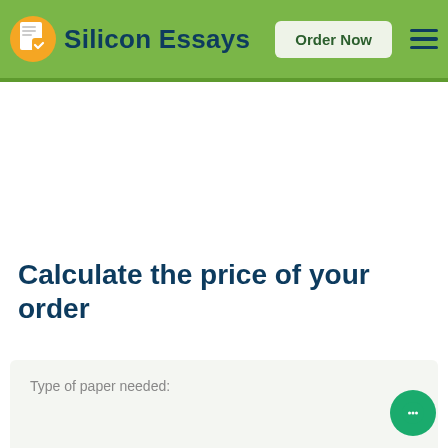Silicon Essays | Order Now
Calculate the price of your order
Type of paper needed: